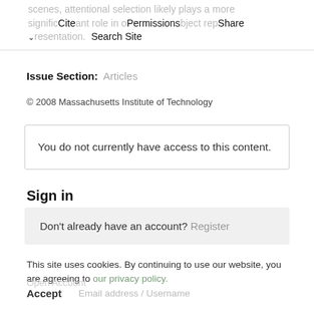scenes, attentional selection likely plays a more significant role in object representation.
Cite  Permissions  Share  Search Site
Issue Section:  Articles
© 2008 Massachusetts Institute of Technology
You do not currently have access to this content.
Sign in
Don't already have an account? Register
This site uses cookies. By continuing to use our website, you are agreeing to our privacy policy.
Accept
Email address / Username